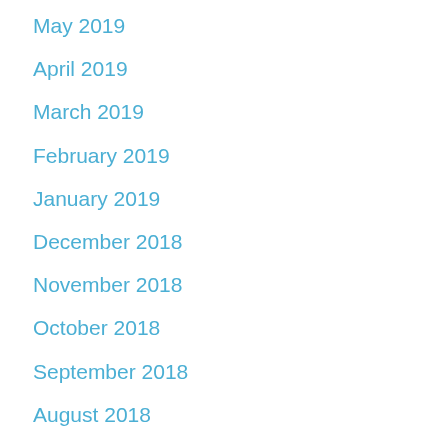May 2019
April 2019
March 2019
February 2019
January 2019
December 2018
November 2018
October 2018
September 2018
August 2018
July 2018
June 2018
May 2018